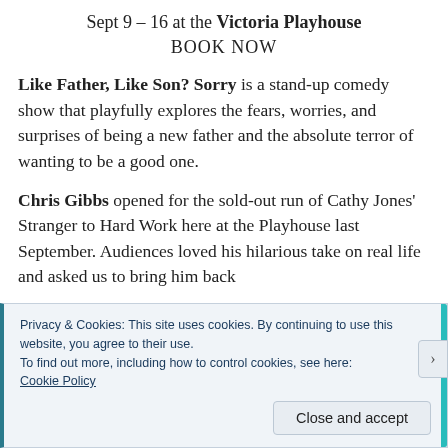Sept 9 – 16 at the Victoria Playhouse
BOOK NOW
Like Father, Like Son? Sorry is a stand-up comedy show that playfully explores the fears, worries, and surprises of being a new father and the absolute terror of wanting to be a good one.
Chris Gibbs opened for the sold-out run of Cathy Jones' Stranger to Hard Work here at the Playhouse last September. Audiences loved his hilarious take on real life and asked us to bring him back
Privacy & Cookies: This site uses cookies. By continuing to use this website, you agree to their use.
To find out more, including how to control cookies, see here:
Cookie Policy
Close and accept